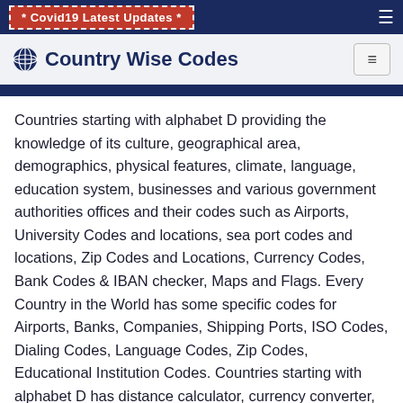* Covid19 Latest Updates *
Country Wise Codes
Countries starting with alphabet D providing the knowledge of its culture, geographical area, demographics, physical features, climate, language, education system, businesses and various government authorities offices and their codes such as Airports, University Codes and locations, sea port codes and locations, Zip Codes and Locations, Currency Codes, Bank Codes & IBAN checker, Maps and Flags. Every Country in the World has some specific codes for Airports, Banks, Companies, Shipping Ports, ISO Codes, Dialing Codes, Language Codes, Zip Codes, Educational Institution Codes. Countries starting with alphabet D has distance calculator, currency converter, cost of living analysis and list of Embassy Consulate offices.